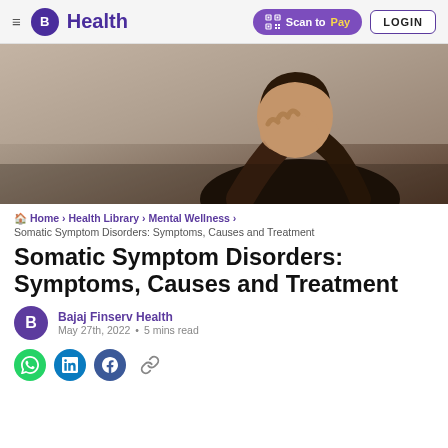B Health | Scan to Pay | LOGIN
[Figure (photo): Person with head in hands, appearing distressed, wearing dark clothing against a beige/neutral background]
🏠 Home > Health Library > Mental Wellness > Somatic Symptom Disorders: Symptoms, Causes and Treatment
Somatic Symptom Disorders: Symptoms, Causes and Treatment
Bajaj Finserv Health
May 27th, 2022 • 5 mins read
[Figure (other): Social sharing icons: WhatsApp (green), LinkedIn (blue), Facebook (dark blue), and a link/chain icon]